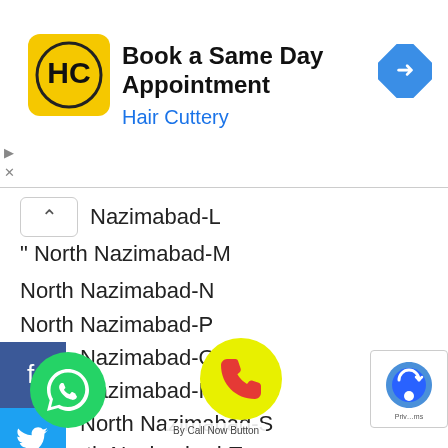[Figure (screenshot): Advertisement banner for Hair Cuttery showing logo, 'Book a Same Day Appointment' text, and navigation icon]
Nazimabad-L
" North Nazimabad-M
North Nazimabad-N
North Nazimabad-P
North Nazimabad-Q
North Nazimabad-R
North Nazimabad-S
North Nazimabad-T
North Nazimabad-U
North Nazimabad-W
rsery
" PECHS Block
Block
Noor Bhutto Colony
Old Golimar